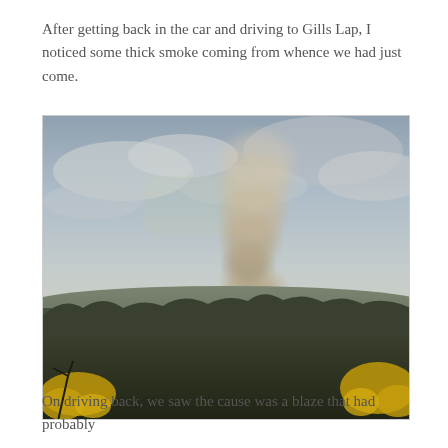After getting back in the car and driving to Gills Lap, I noticed some thick smoke coming from whence we had just come.
[Figure (photo): Outdoor landscape photograph showing a column of thick brownish-tan smoke rising from a hillside covered in trees and vegetation, with a cloudy grey sky in the background and yellow gorse bushes in the foreground.]
On driving back, we saw the cause was a blaze that had probably